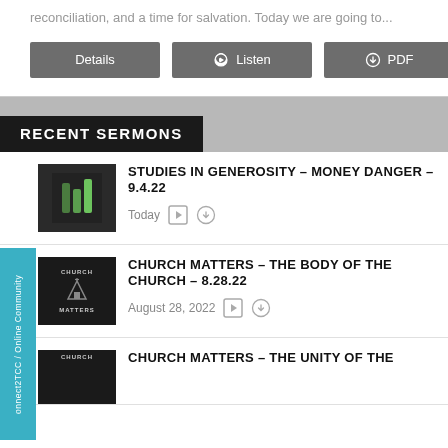reconciliation, and a time for salvation. Today we are going to...
Details
Listen
PDF
RECENT SERMONS
STUDIES IN GENEROSITY – MONEY DANGER – 9.4.22
Today
CHURCH MATTERS – THE BODY OF THE CHURCH – 8.28.22
August 28, 2022
CHURCH MATTERS – THE UNITY OF THE
onnect2TCC / Online Community